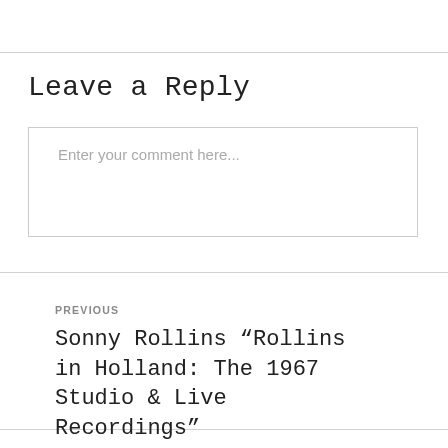Leave a Reply
Enter your comment here...
PREVIOUS
Sonny Rollins “Rollins in Holland: The 1967 Studio & Live Recordings”